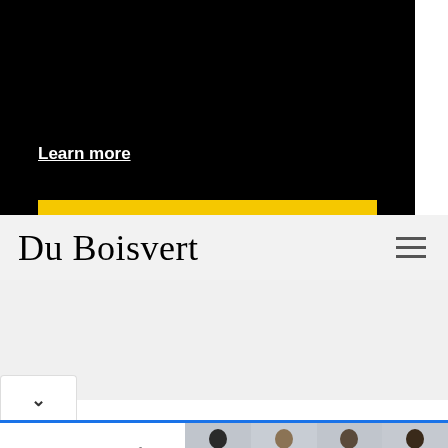This website uses cookies to ensure you get the best experience on our website.
Learn more
Got it!
[Figure (logo): Du Boisvert script logo]
[Figure (other): Hamburger menu icon with three horizontal lines]
[Figure (other): Dropdown chevron/arrow pointing down]
[Figure (other): Men's Wearhouse advertisement banner with four men in suits priced at $229.99, $69.99, $99.99, $229.99]